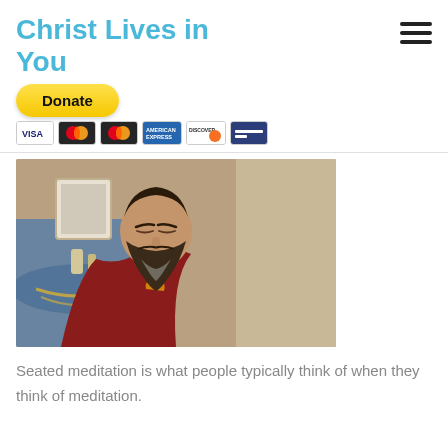Christ Lives in You
[Figure (illustration): Donate button with PayPal and payment card icons (Visa, Mastercard, Mastercard, American Express, Discover, credit card)]
[Figure (photo): A bearded man with eyes closed wearing a red shawl over an orange shirt, seated in a meditative pose, with a blue-draped table and framed picture in the background.]
Seated meditation is what people typically think of when they think of meditation.